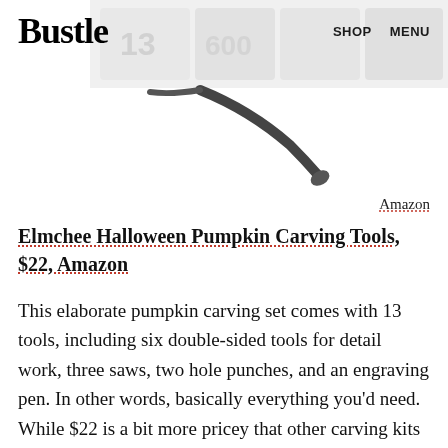Bustle  SHOP  MENU
[Figure (photo): Partial image of a tool product with a grey/white background, showing what appears to be a microphone or engraving pen tool in the lower portion]
Amazon
Elmchee Halloween Pumpkin Carving Tools, $22, Amazon
This elaborate pumpkin carving set comes with 13 tools, including six double-sided tools for detail work, three saws, two hole punches, and an engraving pen. In other words, basically everything you'd need. While $22 is a bit more pricey that other carving kits on this list, this set has been tested out by over 100 people on Amazon who say it's "heavy duty" and